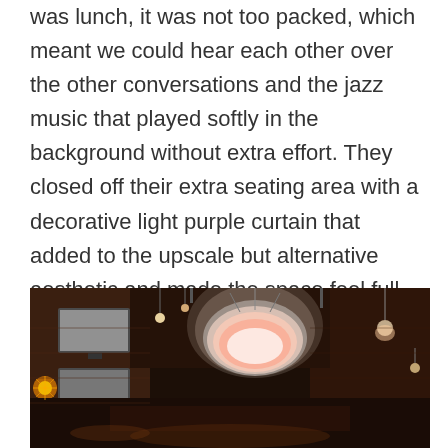was lunch, it was not too packed, which meant we could hear each other over the other conversations and the jazz music that played softly in the background without extra effort. They closed off their extra seating area with a decorative light purple curtain that added to the upscale but alternative aesthetic and made the space feel full.
[Figure (photo): Interior photo of a restaurant showing the ceiling with a large glowing chandelier made of crystals/beads, hanging lights, flat screen TVs mounted on a brick wall, and ambient warm lighting throughout the space.]